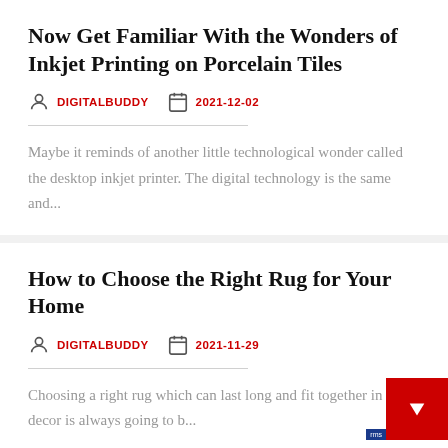Now Get Familiar With the Wonders of Inkjet Printing on Porcelain Tiles
DIGITALBUDDY   2021-12-02
Maybe it reminds of another little technological wonder called the desktop inkjet printer. The digital technology is the same and...
How to Choose the Right Rug for Your Home
DIGITALBUDDY   2021-11-29
Choosing a right rug which can last long and fit together in your decor is always going to b...